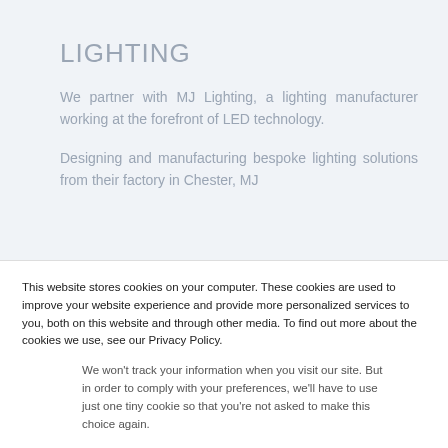LIGHTING
We partner with MJ Lighting, a lighting manufacturer working at the forefront of LED technology.
Designing and manufacturing bespoke lighting solutions from their factory in Chester, MJ
This website stores cookies on your computer. These cookies are used to improve your website experience and provide more personalized services to you, both on this website and through other media. To find out more about the cookies we use, see our Privacy Policy.
We won't track your information when you visit our site. But in order to comply with your preferences, we'll have to use just one tiny cookie so that you're not asked to make this choice again.